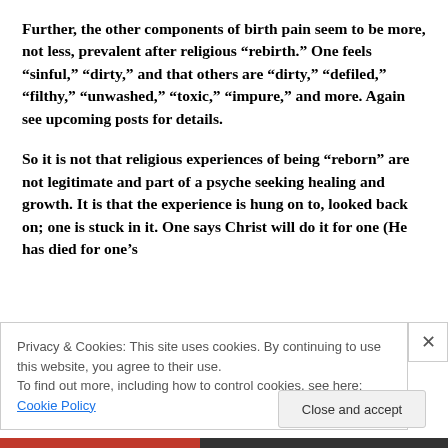Further, the other components of birth pain seem to be more, not less, prevalent after religious “rebirth.” One feels “sinful,” “dirty,” and that others are “dirty,” “defiled,” “filthy,” “unwashed,” “toxic,” “impure,” and more. Again see upcoming posts for details.
So it is not that religious experiences of being “reborn” are not legitimate and part of a psyche seeking healing and growth. It is that the experience is hung on to, looked back on; one is stuck in it. One says Christ will do it for one (He has died for one’s
Privacy & Cookies: This site uses cookies. By continuing to use this website, you agree to their use.
To find out more, including how to control cookies, see here: Cookie Policy
Close and accept